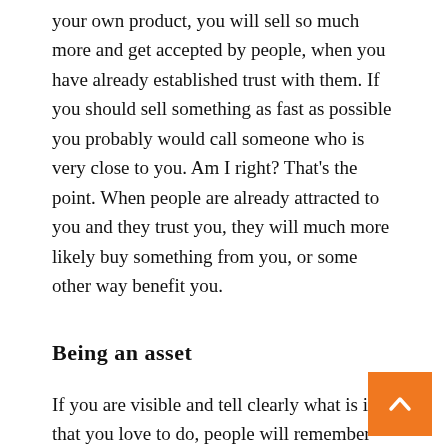your own product, you will sell so much more and get accepted by people, when you have already established trust with them. If you should sell something as fast as possible you probably would call someone who is very close to you. Am I right? That's the point. When people are already attracted to you and they trust you, they will much more likely buy something from you, or some other way benefit you.
Being an asset
If you are visible and tell clearly what is it that you love to do, people will remember...